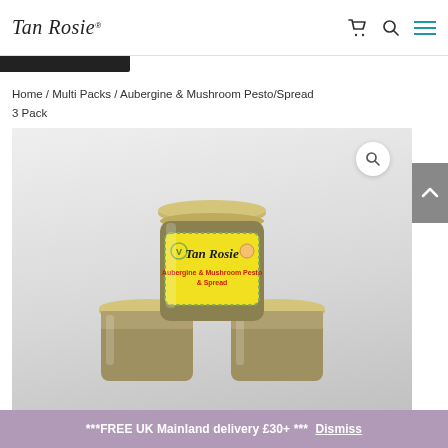Tan Rosie
Home / Multi Packs / Aubergine & Mushroom Pesto/Spread 3 Pack
[Figure (photo): Three jars of Tan Rosie Aubergine & Mushroom Pesto & Spread stacked together. The front jar has a bright yellow label with the Tan Rosie logo in cursive writing. A search magnifier icon appears in the upper right of the image area.]
***FREE UK Mainland delivery £30+ *** Dismiss